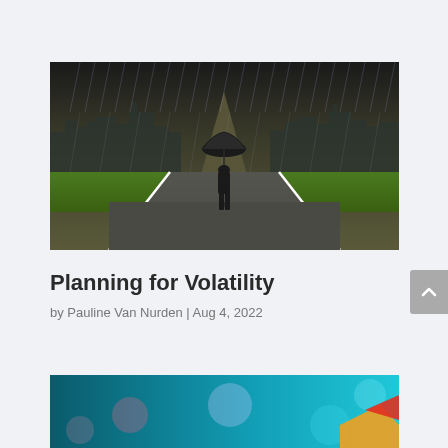[Figure (photo): A person in a suit holding an umbrella standing on a straight road in heavy rain, with a city skyline on both sides and green fields. Dark stormy skies above.]
Planning for Volatility
by Pauline Van Nurden | Aug 4, 2022
[Figure (photo): Partial view of a second article image showing a teal/blue bokeh background with colorful shapes visible at the bottom of the page.]